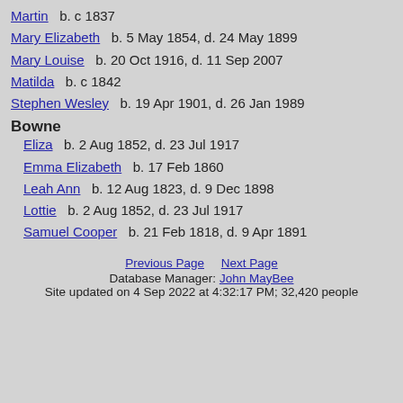Martin  b. c 1837
Mary Elizabeth  b. 5 May 1854, d. 24 May 1899
Mary Louise  b. 20 Oct 1916, d. 11 Sep 2007
Matilda  b. c 1842
Stephen Wesley  b. 19 Apr 1901, d. 26 Jan 1989
Bowne
Eliza  b. 2 Aug 1852, d. 23 Jul 1917
Emma Elizabeth  b. 17 Feb 1860
Leah Ann  b. 12 Aug 1823, d. 9 Dec 1898
Lottie  b. 2 Aug 1852, d. 23 Jul 1917
Samuel Cooper  b. 21 Feb 1818, d. 9 Apr 1891
Previous Page    Next Page
Database Manager: John MayBee
Site updated on 4 Sep 2022 at 4:32:17 PM; 32,420 people